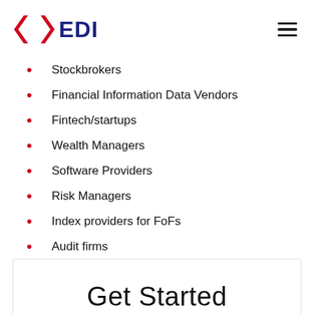EDI logo and navigation
Stockbrokers
Financial Information Data Vendors
Fintech/startups
Wealth Managers
Software Providers
Risk Managers
Index providers for FoFs
Audit firms
Get Started